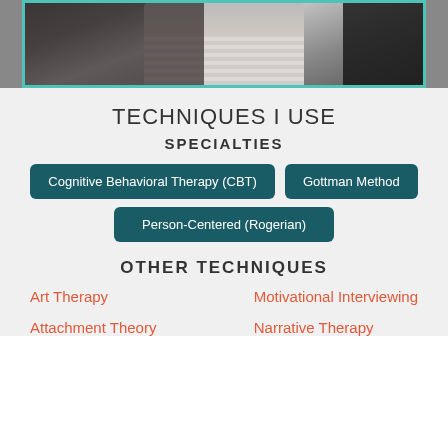[Figure (photo): Partial photo of a person with dark hair, wearing a striped top, with a teal/turquoise border, on a dark background]
TECHNIQUES I USE
SPECIALTIES
Cognitive Behavioral Therapy (CBT)
Gottman Method
Person-Centered (Rogerian)
OTHER TECHNIQUES
Art Therapy
Motivational Interviewing
Attachment Theory
Narrative Therapy